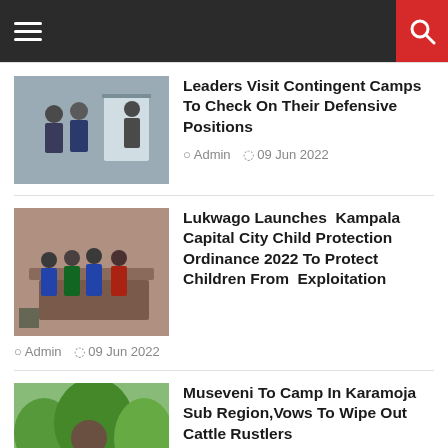Navigation bar with hamburger menu and search icon
Leaders Visit Contingent Camps To Check On Their Defensive Positions
Admin  09 Jun 2022
Lukwago Launches  Kampala Capital City Child Protection Ordinance 2022 To Protect Children From Exploitation
Admin  09 Jun 2022
Museveni To Camp In Karamoja Sub Region,Vows To Wipe Out Cattle Rustlers
Admin  09 Jun 2022